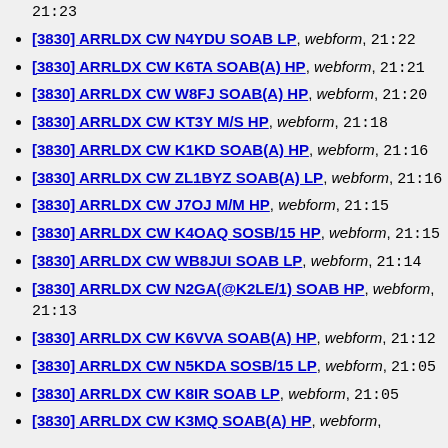21:23
[3830] ARRLDX CW N4YDU SOAB LP, webform, 21:22
[3830] ARRLDX CW K6TA SOAB(A) HP, webform, 21:21
[3830] ARRLDX CW W8FJ SOAB(A) HP, webform, 21:20
[3830] ARRLDX CW KT3Y M/S HP, webform, 21:18
[3830] ARRLDX CW K1KD SOAB(A) HP, webform, 21:16
[3830] ARRLDX CW ZL1BYZ SOAB(A) LP, webform, 21:16
[3830] ARRLDX CW J7OJ M/M HP, webform, 21:15
[3830] ARRLDX CW K4OAQ SOSB/15 HP, webform, 21:15
[3830] ARRLDX CW WB8JUI SOAB LP, webform, 21:14
[3830] ARRLDX CW N2GA(@K2LE/1) SOAB HP, webform, 21:13
[3830] ARRLDX CW K6VVA SOAB(A) HP, webform, 21:12
[3830] ARRLDX CW N5KDA SOSB/15 LP, webform, 21:05
[3830] ARRLDX CW K8IR SOAB LP, webform, 21:05
[3830] ARRLDX CW K3MQ SOAB(A) HP, webform,